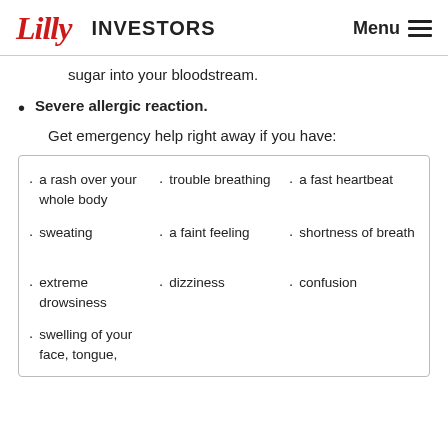Lilly INVESTORS Menu
sugar into your bloodstream.
Severe allergic reaction. Get emergency help right away if you have:
| a rash over your whole body | trouble breathing | a fast heartbeat |
| sweating | a faint feeling | shortness of breath |
| extreme drowsiness | dizziness | confusion |
| swelling of your face, tongue, |  |  |